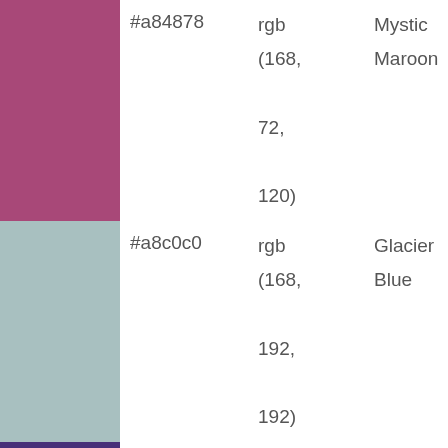| Swatch | Hex | RGB | Name |
| --- | --- | --- | --- |
|  | #a84878 | rgb (168, 72, 120) | Mystic Maroon |
|  | #a8c0c0 | rgb (168, 192, 192) | Glacier Blue |
|  | #483078 | rgb (72, 48, 120) | Windsor |
|  | #906090 | rgb | Hashita |